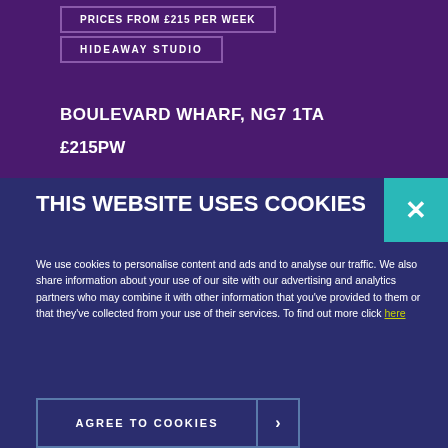PRICES FROM £215 PER WEEK
HIDEAWAY STUDIO
BOULEVARD WHARF, NG7 1TA
£215PW
THIS WEBSITE USES COOKIES
We use cookies to personalise content and ads and to analyse our traffic. We also share information about your use of our site with our advertising and analytics partners who may combine it with other information that you've provided to them or that they've collected from your use of their services. To find out more click here
AGREE TO COOKIES